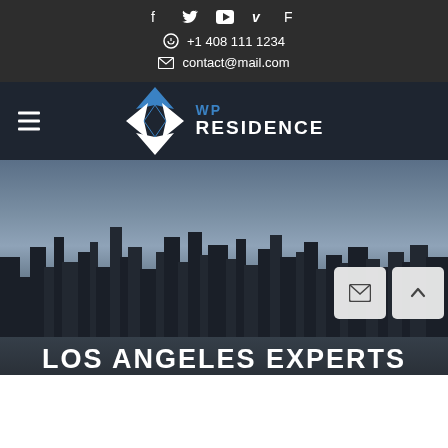Social icons: f, twitter, youtube, v, foursquare
+1 408 111 1234
contact@mail.com
[Figure (logo): WP Residence logo with diamond/arrow icon in blue and white, text 'WP RESIDENCE']
[Figure (photo): Los Angeles city skyline at dusk with dark blue sky and skyscrapers]
LOS ANGELES EXPERTS